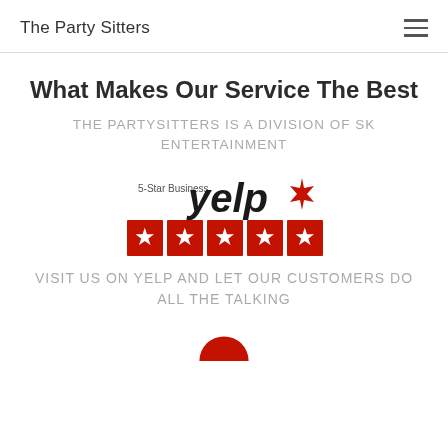The Party Sitters
What Makes Our Service The Best
THE PARTYSITTERS IS A DIVISION OF SK ENTERTAINMENT
[Figure (logo): Yelp 5-Star Business badge with five red star tiles and the Yelp logo with burst icon]
VISIT US ON YELP AND LET OUR CUSTOMERS DO ALL THE TALKING